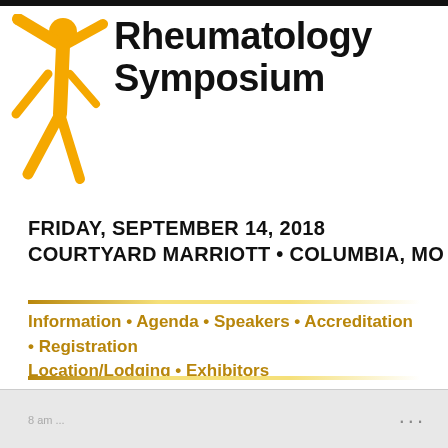[Figure (logo): Rheumatology Symposium logo with gold figure/star shape and bold black text reading 'Rheumatology Symposium']
FRIDAY, SEPTEMBER 14, 2018
COURTYARD MARRIOTT • COLUMBIA, MO
Information • Agenda • Speakers • Accreditation • Registration
Location/Lodging • Exhibitors
AM